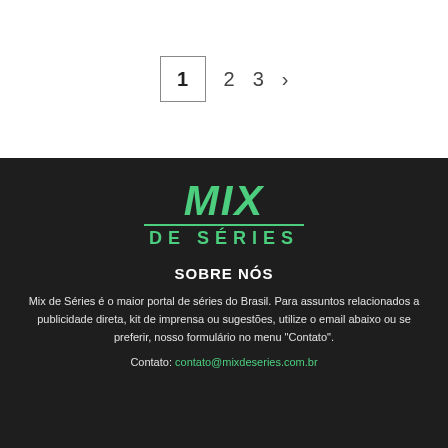1  2  3  >
[Figure (logo): MIX DE SÉRIES logo in green on dark background]
SOBRE NÓS
Mix de Séries é o maior portal de séries do Brasil. Para assuntos relacionados a publicidade direta, kit de imprensa ou sugestões, utilize o email abaixo ou se preferir, nosso formulário no menu "Contato".
Contato: contato@mixdeseries.com.br